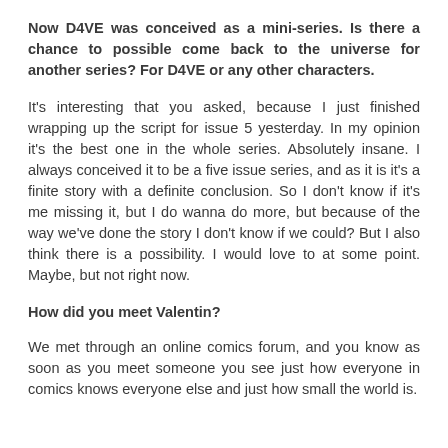Now D4VE was conceived as a mini-series. Is there a chance to possible come back to the universe for another series? For D4VE or any other characters.
It's interesting that you asked, because I just finished wrapping up the script for issue 5 yesterday. In my opinion it's the best one in the whole series. Absolutely insane. I always conceived it to be a five issue series, and as it is it's a finite story with a definite conclusion. So I don't know if it's me missing it, but I do wanna do more, but because of the way we've done the story I don't know if we could? But I also think there is a possibility. I would love to at some point. Maybe, but not right now.
How did you meet Valentin?
We met through an online comics forum, and you know as soon as you meet someone you see just how everyone in comics knows everyone else and just how small the world is.